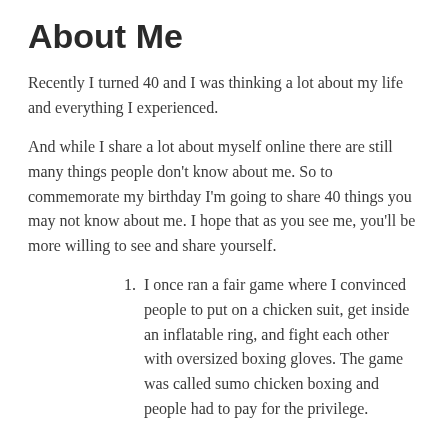About Me
Recently I turned 40 and I was thinking a lot about my life and everything I experienced.
And while I share a lot about myself online there are still many things people don't know about me. So to commemorate my birthday I'm going to share 40 things you may not know about me. I hope that as you see me, you'll be more willing to see and share yourself.
I once ran a fair game where I convinced people to put on a chicken suit, get inside an inflatable ring, and fight each other with oversized boxing gloves. The game was called sumo chicken boxing and people had to pay for the privilege.